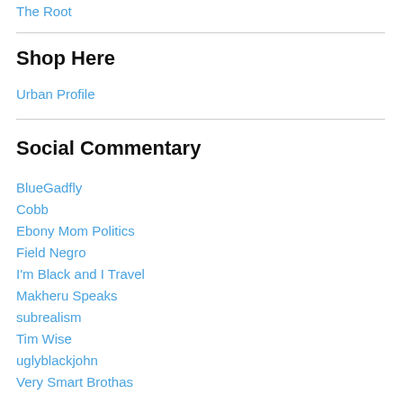The Root
Shop Here
Urban Profile
Social Commentary
BlueGadfly
Cobb
Ebony Mom Politics
Field Negro
I'm Black and I Travel
Makheru Speaks
subrealism
Tim Wise
uglyblackjohn
Very Smart Brothas